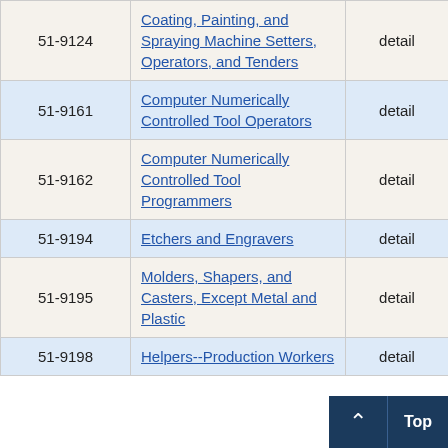| Code | Occupation | Level | Employment | Value |
| --- | --- | --- | --- | --- |
| 51-9124 | Coating, Painting, and Spraying Machine Setters, Operators, and Tenders | detail | 430 | 12 |
| 51-9161 | Computer Numerically Controlled Tool Operators | detail | 240 | 7 |
| 51-9162 | Computer Numerically Controlled Tool Programmers | detail | 40 | 12 |
| 51-9194 | Etchers and Engravers | detail | 30 | 33 |
| 51-9195 | Molders, Shapers, and Casters, Except Metal and Plastic | detail | 110 | 30 |
| 51-9198 | Helpers--Production Workers | detail | 16 |  |